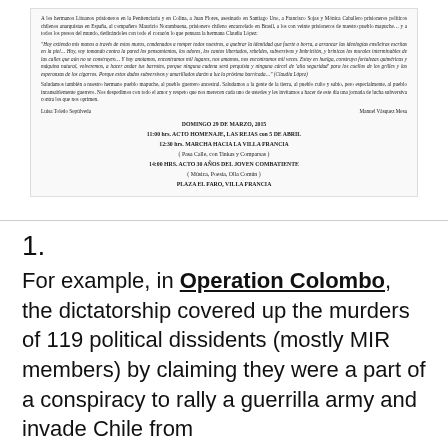[Figure (other): Scanned document page in Spanish with text paragraphs, a block italic quote attributed to Claudia López, signatures of Luisa Toledo Sepúlveda and Manuel Vásquez Mena, and centered event listings for Domingo 29 de Marzo 2015 including ACTO HOMENAJE at LAS REJAS con 5 DE ABRIL, MARCHA HACIA LA VILLA FRANCIA, and ACTO 30 AÑOS DEL JOVEN COMBATIENTE at PLAZA EL FARO, VILLA FRANCIA.]
1.
For example, in Operation Colombo, the dictatorship covered up the murders of 119 political dissidents (mostly MIR members) by claiming they were a part of a conspiracy to rally a guerrilla army and invade Chile from